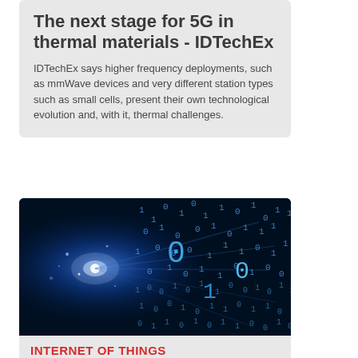The next stage for 5G in thermal materials - IDTechEx
IDTechEx says higher frequency deployments, such as mmWave devices and very different station types such as small cells, present their own technological evolution and, with it, thermal challenges.
[Figure (photo): Dark blue digital binary code / data stream image with glowing blue light and floating 0s and 1s on a dark background, representing digital technology or IoT.]
INTERNET OF THINGS